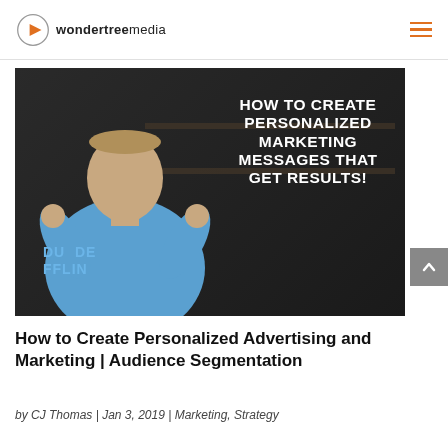wondertreemedia
[Figure (photo): Video thumbnail showing a man in a blue t-shirt with text overlay reading 'HOW TO CREATE PERSONALIZED MARKETING MESSAGES THAT GET RESULTS!']
How to Create Personalized Advertising and Marketing | Audience Segmentation
by CJ Thomas | Jan 3, 2019 | Marketing, Strategy